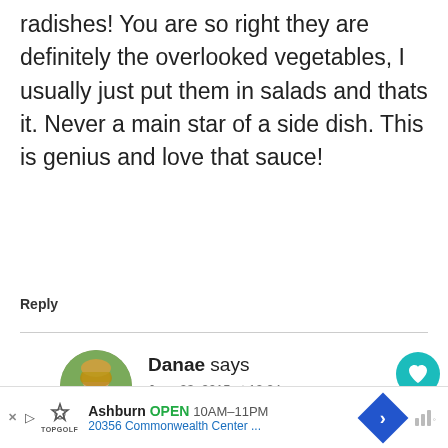radishes! You are so right they are definitely the overlooked vegetables, I usually just put them in salads and thats it. Never a main star of a side dish. This is genius and love that sauce!
Reply
Danae says
June 23, 2015 at 12:24 pm
Thanks so much Krista! It’s amazing how the flavor changes when they’re grilled
Reply
[Figure (other): Advertisement bar: Ashburn OPEN 10AM-11PM, 20356 Commonwealth Center..., Topgolf logo]